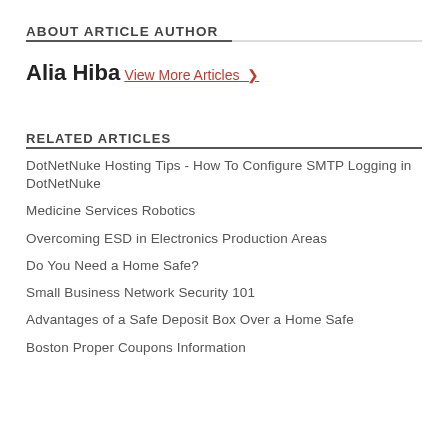ABOUT ARTICLE AUTHOR
Alia Hiba
View More Articles >
RELATED ARTICLES
DotNetNuke Hosting Tips - How To Configure SMTP Logging in DotNetNuke
Medicine Services Robotics
Overcoming ESD in Electronics Production Areas
Do You Need a Home Safe?
Small Business Network Security 101
Advantages of a Safe Deposit Box Over a Home Safe
Boston Proper Coupons Information